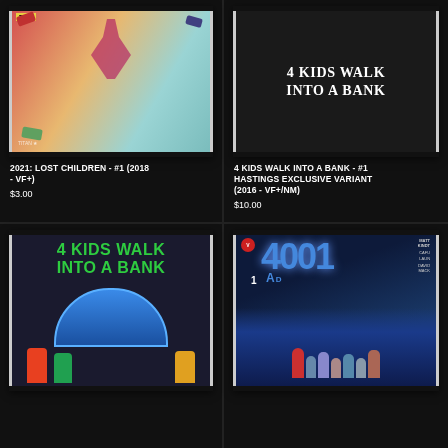[Figure (photo): Comic book cover: 2021 Lost Children #1 (2018) - action scene with character and vehicles]
2021: LOST CHILDREN - #1 (2018 - VF+)
$3.00
[Figure (photo): Comic book cover: 4 Kids Walk Into a Bank #1 Hastings Exclusive Variant - black background with white text title]
4 KIDS WALK INTO A BANK - #1 HASTINGS EXCLUSIVE VARIANT (2016 - VF+/NM)
$10.00
[Figure (photo): Comic book cover: 4 Kids Walk Into a Bank - colored cover with green title text and character illustrations]
[Figure (photo): Comic book cover: 4001 AD #1 - sci-fi cover with crowds and large number logo]